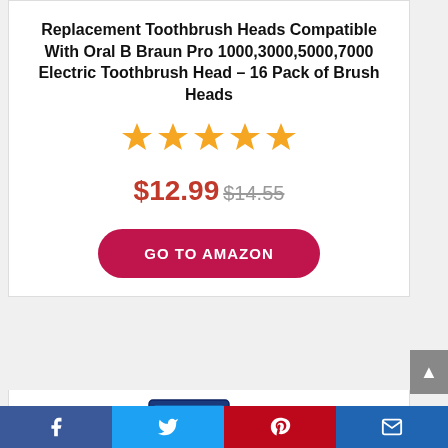Replacement Toothbrush Heads Compatible With Oral B Braun Pro 1000,3000,5000,7000 Electric Toothbrush Head – 16 Pack of Brush Heads
[Figure (other): Five orange star rating icons]
$12.99 $14.55
[Figure (other): Red rounded rectangle button with text GO TO AMAZON]
[Figure (other): Product image of Oral-B replacement toothbrush heads (4-pack box) with a green circular badge showing -24%]
Facebook | Twitter | Pinterest | Email